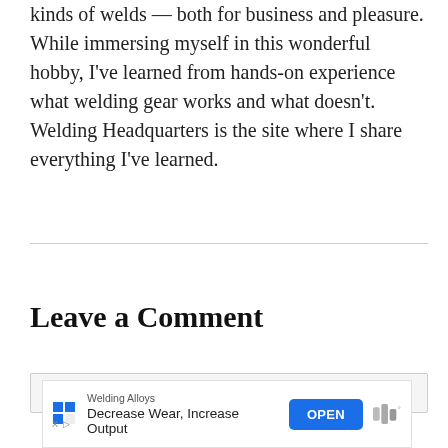kinds of welds — both for business and pleasure. While immersing myself in this wonderful hobby, I've learned from hands-on experience what welding gear works and what doesn't. Welding Headquarters is the site where I share everything I've learned.
Leave a Comment
[Figure (other): Advertisement banner for Welding Alloys with text 'Decrease Wear, Increase Output', an OPEN button, and brand logo]